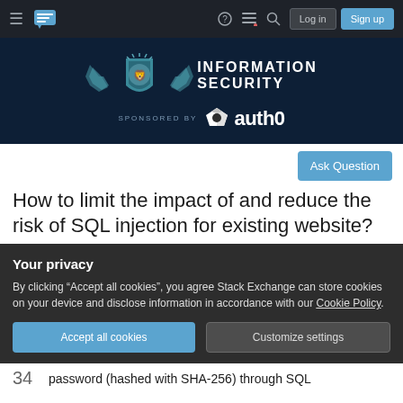Information Security Stack Exchange navigation bar with Log in and Sign up buttons
[Figure (logo): Information Security Stack Exchange banner logo with auth0 sponsor]
Ask Question
How to limit the impact of and reduce the risk of SQL injection for existing website?
Your privacy
By clicking "Accept all cookies", you agree Stack Exchange can store cookies on your device and disclose information in accordance with our Cookie Policy.
Accept all cookies  Customize settings
34  password (hashed with SHA-256) through SQL